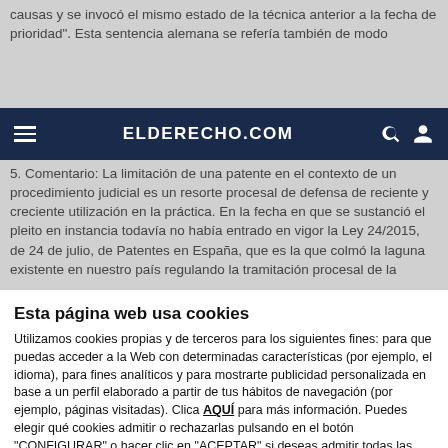causas y se invocó el mismo estado de la técnica anterior a la fecha de prioridad". Esta sentencia alemana se refería también de modo
ELDERECHO.COM
5. Comentario: La limitación de una patente en el contexto de un procedimiento judicial es un resorte procesal de defensa de reciente y creciente utilización en la práctica. En la fecha en que se sustanció el pleito en instancia todavía no había entrado en vigor la Ley 24/2015, de 24 de julio, de Patentes en España, que es la que colmó la laguna existente en nuestro país regulando la tramitación procesal de la
Esta página web usa cookies
Utilizamos cookies propias y de terceros para los siguientes fines: para que puedas acceder a la Web con determinadas características (por ejemplo, el idioma), para fines analíticos y para mostrarte publicidad personalizada en base a un perfil elaborado a partir de tus hábitos de navegación (por ejemplo, páginas visitadas). Clica AQUÍ para más información. Puedes elegir qué cookies admitir o rechazarlas pulsando en el botón "CONFIGURAR" o hacer clic en "ACEPTAR" si deseas admitir todas las cookies.